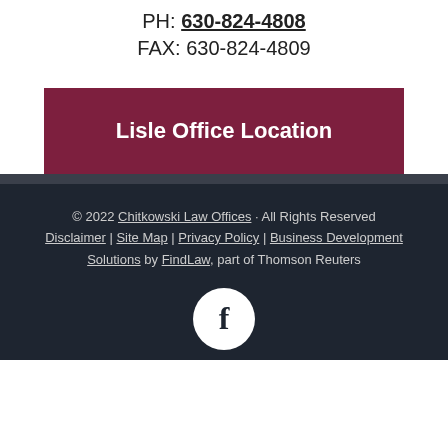PH: 630-824-4808
FAX: 630-824-4809
Lisle Office Location
© 2022 Chitkowski Law Offices · All Rights Reserved Disclaimer | Site Map | Privacy Policy | Business Development Solutions by FindLaw, part of Thomson Reuters
[Figure (logo): Facebook icon: white letter f on a white circle with dark background]